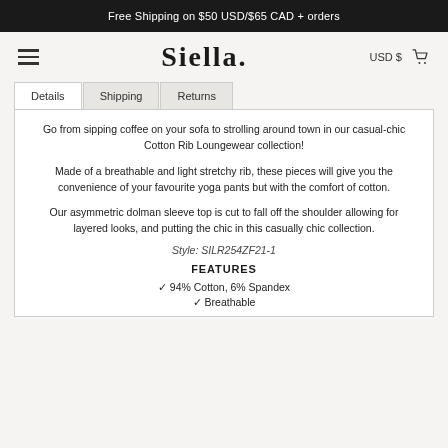Free Shipping on $50 USD/$65 CAD + orders
[Figure (logo): Siella brand logo with hamburger menu, USD $ currency selector, and cart icon]
Details | Shipping | Returns (tabs)
Go from sipping coffee on your sofa to strolling around town in our casual-chic Cotton Rib Loungewear collection!
Made of a breathable and light stretchy rib, these pieces will give you the convenience of your favourite yoga pants but with the comfort of cotton.
Our asymmetric dolman sleeve top is cut to fall off the shoulder allowing for layered looks, and putting the chic in this casually chic collection.
Style: SILR254ZF21-1
FEATURES
✓ 94% Cotton, 6% Spandex
✓ Breathable